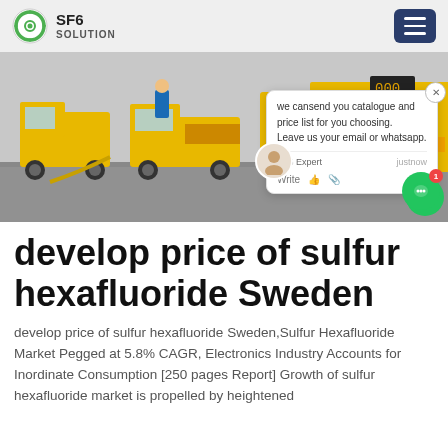SF6 SOLUTION
[Figure (photo): Yellow trucks on a snowy road, industrial SF6 gas equipment visible]
develop price of sulfur hexafluoride Sweden
develop price of sulfur hexafluoride Sweden,Sulfur Hexafluoride Market Pegged at 5.8% CAGR, Electronics Industry Accounts for Inordinate Consumption [250 pages Report] Growth of sulfur hexafluoride market is propelled by heightened